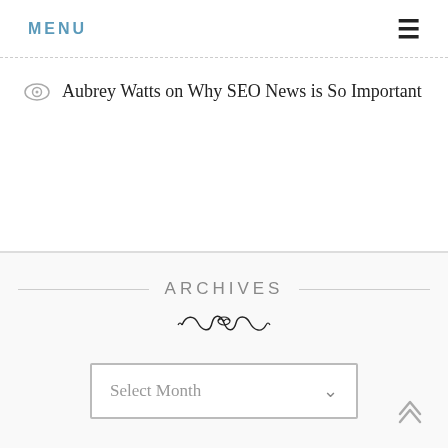MENU
Aubrey Watts on Why SEO News is So Important
ARCHIVES
[Figure (illustration): Decorative ornamental flourish divider]
Select Month